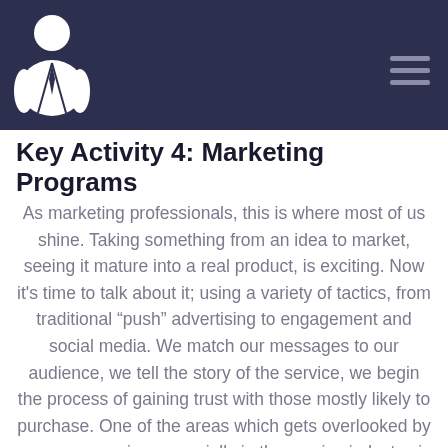Key Activity 4: Marketing Programs
Key Activity 4: Marketing Programs
As marketing professionals, this is where most of us shine. Taking something from an idea to market, seeing it mature into a real product, is exciting. Now it’s time to talk about it; using a variety of tactics, from traditional “push” advertising to engagement and social media. We match our messages to our audience, we tell the story of the service, we begin the process of gaining trust with those mostly likely to purchase. One of the areas which gets overlooked by many companies, especially in the service industry, is “testing, testing, testing”